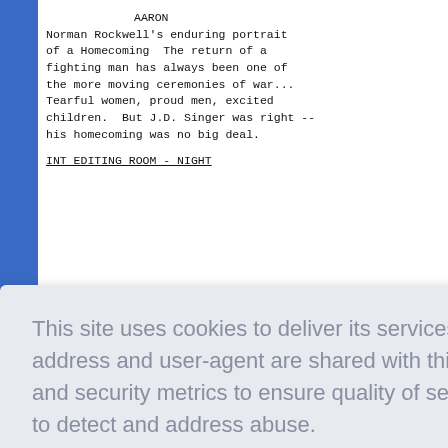AARON
Norman Rockwell's enduring portrait of a Homecoming  The return of a fighting man has always been one of the more moving ceremonies of war... Tearful women, proud men, excited children.  But J.D. Singer was right -- his homecoming was no big deal.
INT  EDITING ROOM - NIGHT
This site uses cookies to deliver its services and to analyze traffic. Your IP address and user-agent are shared with this website along with performance and security metrics to ensure quality of service, generate usage statistics, and to detect and address abuse.
Learn more
Got it!
deadline
(hopefully)
Nine seconds.